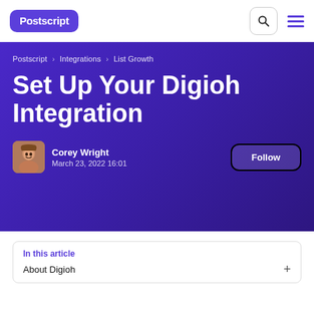Postscript
Postscript › Integrations › List Growth
Set Up Your Digioh Integration
Corey Wright
March 23, 2022 16:01
In this article
About Digioh